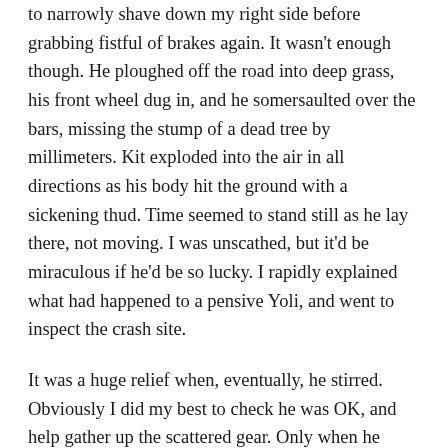to narrowly shave down my right side before grabbing fistful of brakes again. It wasn't enough though. He ploughed off the road into deep grass, his front wheel dug in, and he somersaulted over the bars, missing the stump of a dead tree by millimeters. Kit exploded into the air in all directions as his body hit the ground with a sickening thud. Time seemed to stand still as he lay there, not moving. I was unscathed, but it'd be miraculous if he'd be so lucky. I rapidly explained what had happened to a pensive Yoli, and went to inspect the crash site.
It was a huge relief when, eventually, he stirred. Obviously I did my best to check he was OK, and help gather up the scattered gear. Only when he asked me to check he wasn't bleeding did I notice that he wasn't wearing a helmet. His descent was reckless enough already, but without head protection it was suicidal. I looked at the tree stump again – a head first impact with which could well have ended not just his day, but his life. And yet, after